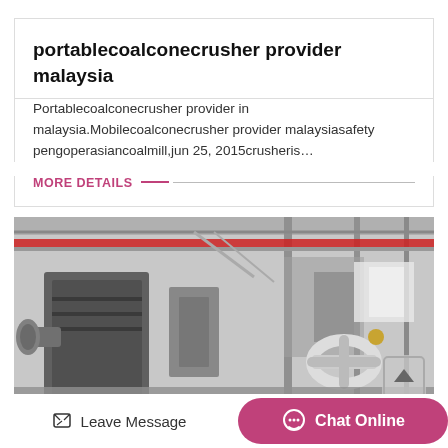portablecoalconecrusher provider malaysia
Portablecoalconecrusher provider in malaysia.Mobilecoalconecrusher provider malaysiasafety pengoperasiancoalmill,jun 25, 2015crusheris…
MORE DETAILS
[Figure (photo): Industrial factory floor showing heavy machinery including what appears to be a cone crusher and other mining/milling equipment, photographed in black and white with some red accents visible on overhead crane.]
Leave Message
Chat Online